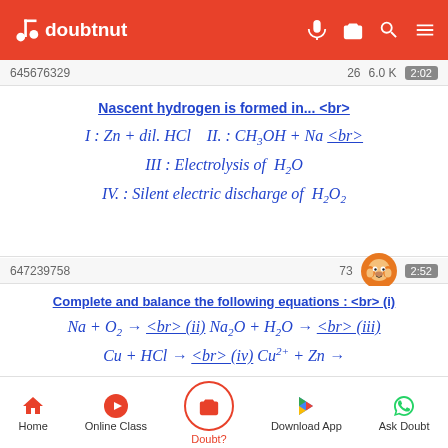Doubtnut navigation bar
645676329   26  6.0 K  2:02
647239758   73  2:52
Home | Online Class | Doubt? | Download App | Ask Doubt